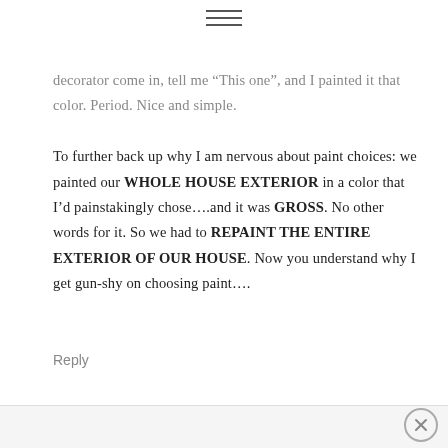(menu icon)
decorator come in, tell me “This one”, and I painted it that color. Period. Nice and simple. To further back up why I am nervous about paint choices: we painted our WHOLE HOUSE EXTERIOR in a color that I’d painstakingly chose….and it was GROSS. No other words for it. So we had to REPAINT THE ENTIRE EXTERIOR OF OUR HOUSE. Now you understand why I get gun-shy on choosing paint….
Reply